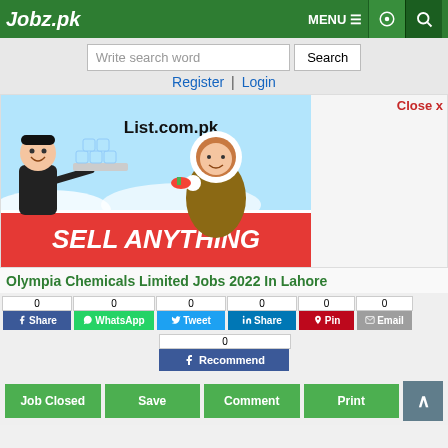Jobz.pk — MENU
Write search word | Search
Register | Login
[Figure (illustration): Advertisement banner for List.com.pk showing a cartoon man in a suit offering ice cubes on a tray to a woman in an eskimo/arctic outfit, with text 'List.com.pk' at top and 'SELL ANYTHING' on a red banner at bottom.]
Olympia Chemicals Limited Jobs 2022 In Lahore
Close x
0 Share (Facebook) | 0 WhatsApp | 0 Tweet | 0 Share (LinkedIn) | 0 Pin | 0 Email
0 Recommend (Facebook)
Job Closed | Save | Comment | Print